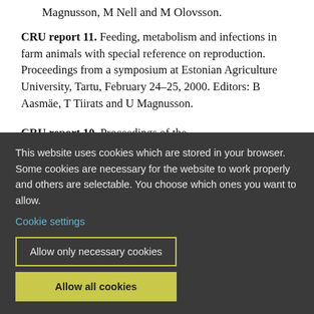Magnusson, M Nell and M Olovsson.
CRU report 11. Feeding, metabolism and infections in farm animals with special reference on reproduction. Proceedings from a symposium at Estonian Agriculture University, Tartu, February 24-25, 2000. Editors: B Aasmäe, T Tiirats and U Magnusson.
CRU report 10. Proceedings of the
This website uses cookies which are stored in your browser. Some cookies are necessary for the website to work properly and others are selectable. You choose which ones you want to allow.
Cookie settings
Allow only necessary cookies
Allow all cookies